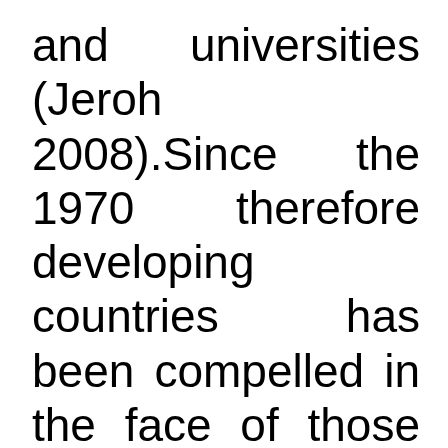and universities (Jeroh 2008).Since the 1970 therefore developing countries has been compelled in the face of those problems to look for alternatives approaches to development. One of these approaches has been the redirection of efforts and